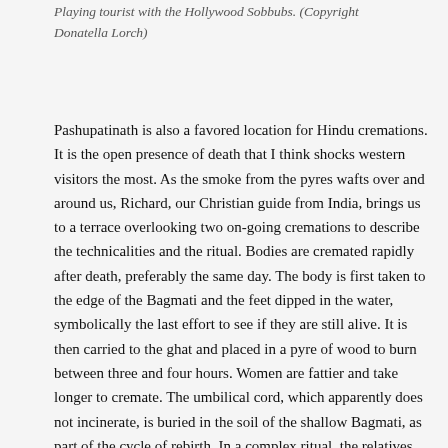Playing tourist with the Hollywood Sobbubs. (Copyright Donatella Lorch)
Pashupatinath is also a favored location for Hindu cremations. It is the open presence of death that I think shocks western visitors the most. As the smoke from the pyres wafts over and around us, Richard, our Christian guide from India, brings us to a terrace overlooking two on-going cremations to describe the technicalities and the ritual. Bodies are cremated rapidly after death, preferably the same day. The body is first taken to the edge of the Bagmati and the feet dipped in the water, symbolically the last effort to see if they are still alive. It is then carried to the ghat and placed in a pyre of wood to burn between three and four hours. Women are fattier and take longer to cremate. The umbilical cord, which apparently does not incinerate, is buried in the soil of the shallow Bagmati, as part of the cycle of rebirth. In a complex ritual, the relatives receive the ashes and then go to the other shore of the Bagmati for puja (worship)